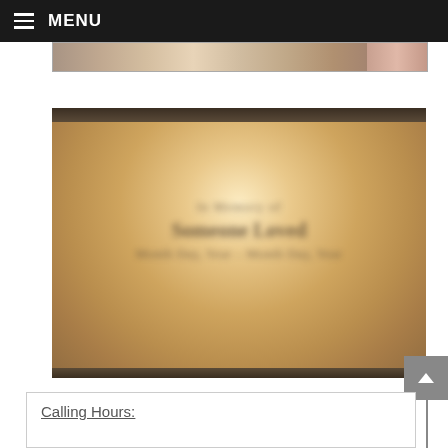MENU
[Figure (photo): Partially visible image strip at the top of the page content area, showing a blurred or cropped photo.]
[Figure (photo): Large blurred warm-toned image with dark top and bottom bars, containing illegible blurred text overlay — appears to be a memorial or obituary photo with a name and dates.]
Calling Hours: